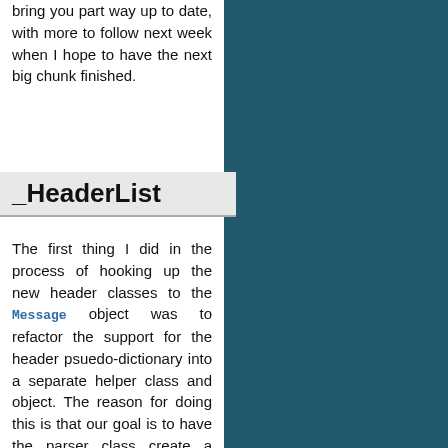bring you part way up to date, with more to follow next week when I hope to have the next big chunk finished.
_HeaderList
The first thing I did in the process of hooking up the new header classes to the Message object was to refactor the support for the header psuedo-dictionary into a separate helper class and object. The reason for doing this is that our goal is to have the parser class create a message subclass that is appropriate to the